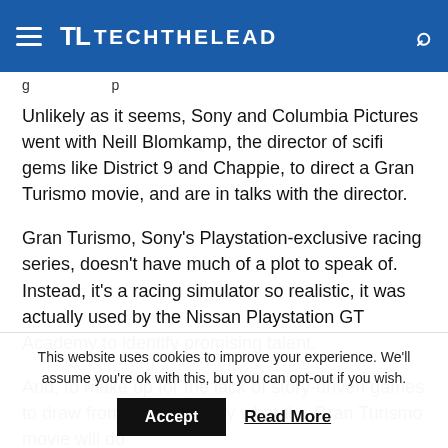TL TECHTHELEAD
g...p...
Unlikely as it seems, Sony and Columbia Pictures went with Neill Blomkamp, the director of scifi gems like District 9 and Chappie, to direct a Gran Turismo movie, and are in talks with the director.
Gran Turismo, Sony's Playstation-exclusive racing series, doesn't have much of a plot to speak of. Instead, it's a racing simulator so realistic, it was actually used by the Nissan Playstation GT Academy to identify promising talent.
And, to make up for the lack of story-driven games to draw from, that's exactly what the Gran Turismo movie will do
This website uses cookies to improve your experience. We'll assume you're ok with this, but you can opt-out if you wish.
Accept   Read More